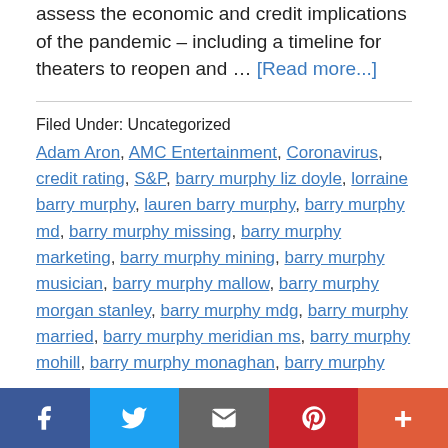assess the economic and credit implications of the pandemic – including a timeline for theaters to reopen and … [Read more...]
Filed Under: Uncategorized
Adam Aron, AMC Entertainment, Coronavirus, credit rating, S&P, barry murphy liz doyle, lorraine barry murphy, lauren barry murphy, barry murphy md, barry murphy missing, barry murphy marketing, barry murphy mining, barry murphy musician, barry murphy mallow, barry murphy morgan stanley, barry murphy mdg, barry murphy married, barry murphy meridian ms, barry murphy mohill, barry murphy monaghan, barry murphy
Facebook Twitter Email Pinterest More